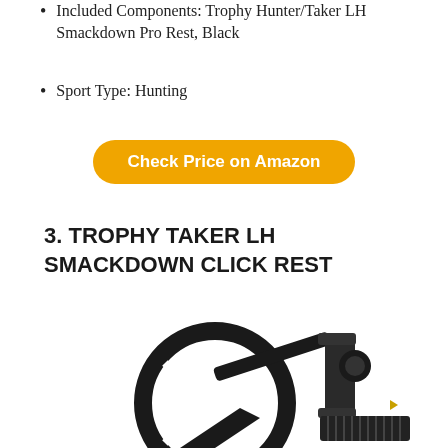Included Components: Trophy Hunter/Taker LH Smackdown Pro Rest, Black
Sport Type: Hunting
Check Price on Amazon
3. TROPHY TAKER LH SMACKDOWN CLICK REST
[Figure (photo): Black Trophy Taker LH Smackdown Click Rest archery arrow rest product photo on white background]